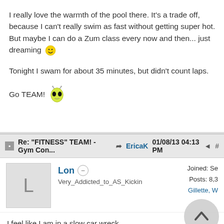I really love the warmth of the pool there. It's a trade off, because I can't really swim as fast without getting super hot. But maybe I can do a Zum class every now and then... just dreaming 🙂
Tonight I swam for about 35 minutes, but didn't count laps.
Go TEAM! 👾
Re: "FITNESS" TEAM! - Gym Con... ➦ EricaK   01/08/13 04:13 PM  #
Lon  Very_Addicted_to_AS_Kickin   Joined: Se... Posts: 8,3... Gillette, W...
I feel like I am in a slow car wreck...
but i intend on walking / lifting / swimming.....
was it the water message / the activity / sheeshs...I need a break from constant flare,